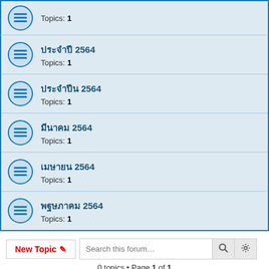Topics: 1
ปปปปปปป 2564 Topics: 1
ปปปปปปปป 2564 Topics: 1
ปปปปปปป 2564 Topics: 1
ปปปปปปป 2564 Topics: 1
ปปปปปปป 2564 Topics: 1
0 topics • Page 1 of 1
There are no topics or posts in this forum.
FORUM PERMISSIONS
You cannot post new topics in this forum
You cannot reply to topics in this forum
You cannot edit your posts in this forum